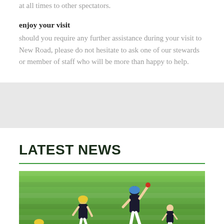at all times to other spectators.
enjoy your visit
should you require any further assistance during your visit to New Road, please do not hesitate to ask one of our stewards or member of staff who will be more than happy to help.
LATEST NEWS
[Figure (photo): Cricket players in action on a green field, one bowling and others nearby, taken during a match under bright daylight conditions.]